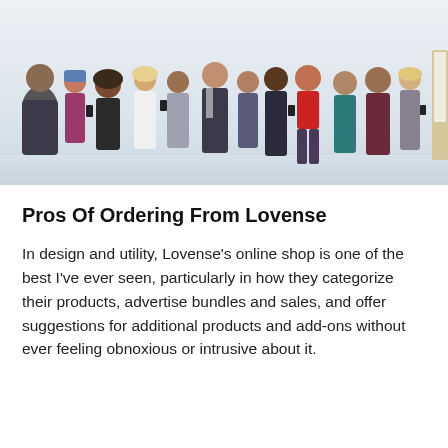[Figure (photo): A group of diverse people standing in a row against a light grey/white background. They are dressed in various outfits ranging from casual (pajamas, loungewear) to business attire, and some are holding smartphones. A whiteboard or easel is partially visible at the far right.]
Pros Of Ordering From Lovense
In design and utility, Lovense's online shop is one of the best I've ever seen, particularly in how they categorize their products, advertise bundles and sales, and offer suggestions for additional products and add-ons without ever feeling obnoxious or intrusive about it.